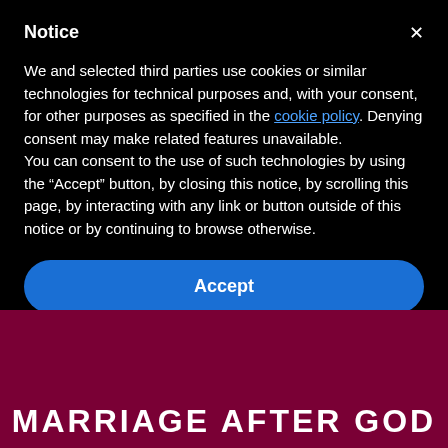Notice
We and selected third parties use cookies or similar technologies for technical purposes and, with your consent, for other purposes as specified in the cookie policy. Denying consent may make related features unavailable.
You can consent to the use of such technologies by using the “Accept” button, by closing this notice, by scrolling this page, by interacting with any link or button outside of this notice or by continuing to browse otherwise.
Accept
MARRIAGE AFTER GOD